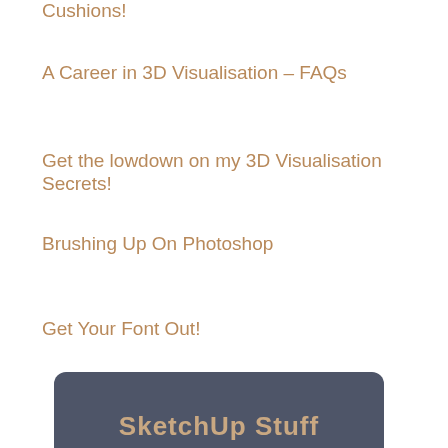Cushions!
A Career in 3D Visualisation – FAQs
Get the lowdown on my 3D Visualisation Secrets!
Brushing Up On Photoshop
Get Your Font Out!
[Figure (other): Banner graphic with dark blue-grey rounded rectangle background and text 'SketchUp Stuff' in beige/copper colored bold font]
SketchUp Tutorials
Circles and Segments
SketchUp Models Vol I